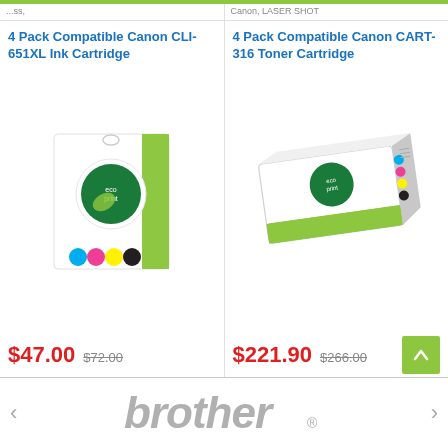4 Pack Compatible Canon CLI-651XL Ink Cartridge
[Figure (photo): White retail box of Ecoprint 4 Pack Compatible Canon CLI-651XL ink cartridge with cyan, magenta, yellow and black ink dots shown at bottom]
$47.00  $72.00
4 Pack Compatible Canon CART-316 Toner Cartridge
[Figure (photo): White and green retail box of Ecoprint 4 Pack Compatible Canon CART-316 toner cartridge with cyan, magenta, yellow and black color indicators on side]
$221.90  $266.00
[Figure (logo): Brother brand logo in grey italic text with registered trademark symbol]
brother®